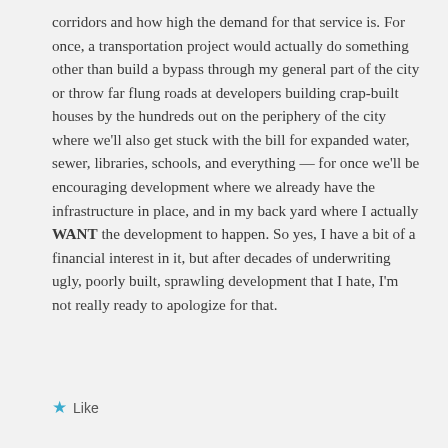corridors and how high the demand for that service is. For once, a transportation project would actually do something other than build a bypass through my general part of the city or throw far flung roads at developers building crap-built houses by the hundreds out on the periphery of the city where we'll also get stuck with the bill for expanded water, sewer, libraries, schools, and everything — for once we'll be encouraging development where we already have the infrastructure in place, and in my back yard where I actually WANT the development to happen. So yes, I have a bit of a financial interest in it, but after decades of underwriting ugly, poorly built, sprawling development that I hate, I'm not really ready to apologize for that.
★ Like